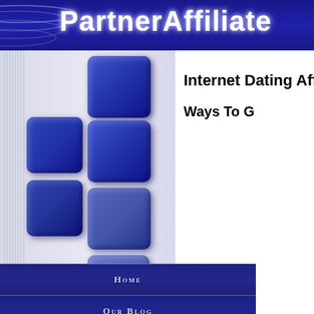PartnerAffiliate
[Figure (illustration): Left sidebar with decorative blue 3D square boxes arranged in two columns with vertical line decorations on a light blue-gray gradient background]
Internet Dating Aff
Ways To G
Home
Our Blog
Affiliate101
Affiliate Tools
Affiliate Forums
The Guide
Disclaimer Info